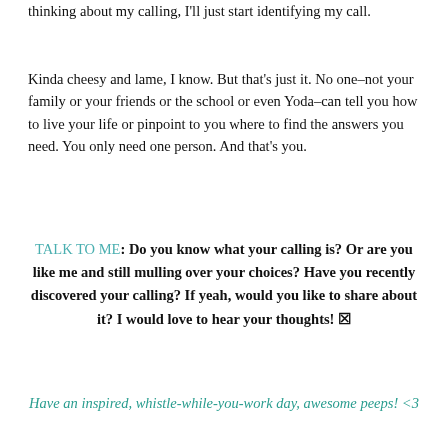thinking about my calling, I'll just start identifying my call.
Kinda cheesy and lame, I know. But that’s just it. No one–not your family or your friends or the school or even Yoda–can tell you how to live your life or pinpoint to you where to find the answers you need. You only need one person. And that’s you.
TALK TO ME: Do you know what your calling is? Or are you like me and still mulling over your choices? Have you recently discovered your calling? If yeah, would you like to share about it? I would love to hear your thoughts! ☒
Have an inspired, whistle-while-you-work day, awesome peeps! <3